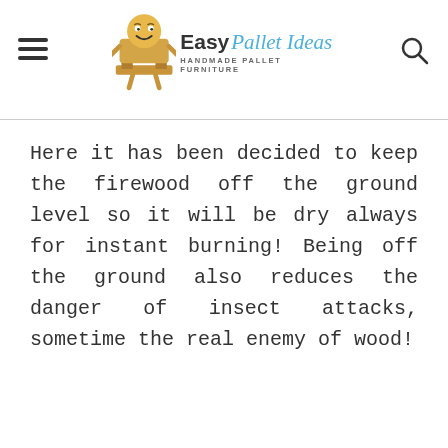Easy Pallet Ideas — HANDMADE PALLET FURNITURE
Here it has been decided to keep the firewood off the ground level so it will be dry always for instant burning! Being off the ground also reduces the danger of insect attacks, sometime the real enemy of wood!